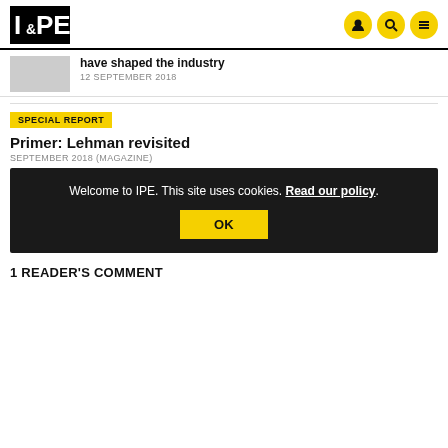IPE
have shaped the industry
12 SEPTEMBER 2018
SPECIAL REPORT
Primer: Lehman revisited
SEPTEMBER 2018 (MAGAZINE)
Welcome to IPE. This site uses cookies. Read our policy.
OK
1 READER'S COMMENT